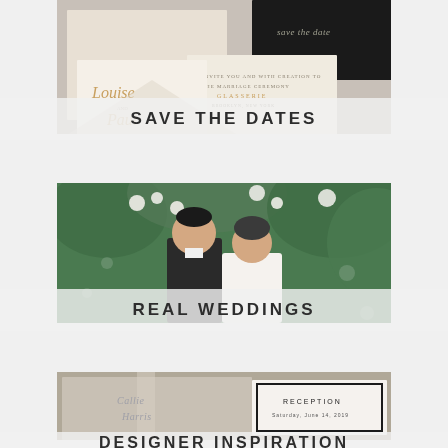[Figure (photo): Wedding stationery flat-lay photo showing save the date cards, envelopes in cream and black with gold lettering including names 'Louise and Paul']
SAVE THE DATES
[Figure (photo): Couple at their wedding outdoors surrounded by lush greenery and white floral arrangements, bride in white dress and groom in dark suit]
REAL WEDDINGS
[Figure (photo): Wedding stationery showing elegant invitation suite with script lettering and black bordered cards including reception card]
DESIGNER INSPIRATION